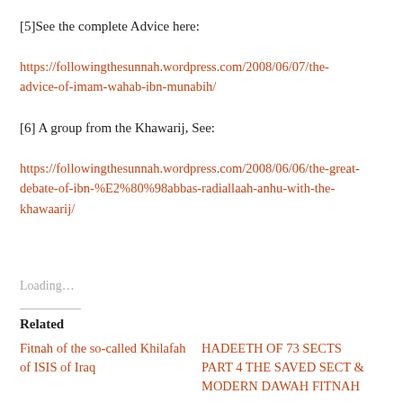[5]See the complete Advice here:
https://followingthesunnah.wordpress.com/2008/06/07/the-advice-of-imam-wahab-ibn-munabih/
[6] A group from the Khawarij, See:
https://followingthesunnah.wordpress.com/2008/06/06/the-great-debate-of-ibn-%E2%80%98abbas-radiallaah-anhu-with-the-khawaarij/
Loading...
Related
Fitnah of the so-called Khilafah of ISIS of Iraq
HADEETH OF 73 SECTS PART 4 THE SAVED SECT & MODERN DAWAH FITNAH